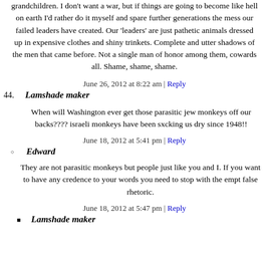grandchildren. I don't want a war, but if things are going to become like hell on earth I'd rather do it myself and spare further generations the mess our failed leaders have created. Our 'leaders' are just pathetic animals dressed up in expensive clothes and shiny trinkets. Complete and utter shadows of the men that came before. Not a single man of honor among them, cowards all. Shame, shame, shame.
June 26, 2012 at 8:22 am | Reply
44. Lamshade maker
When will Washington ever get those parasitic jew monkeys off our backs???? israeli monkeys have been sxcking us dry since 1948!!
June 18, 2012 at 5:41 pm | Reply
○ Edward
They are not parasitic monkeys but people just like you and I. If you want to have any credence to your words you need to stop with the empt false rhetoric.
June 18, 2012 at 5:47 pm | Reply
■ Lamshade maker